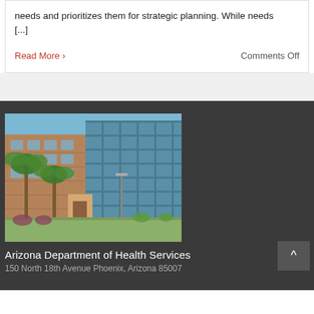needs and prioritizes them for strategic planning. While needs [...]
Read More >
Comments Off
[Figure (photo): Exterior photo of a multi-story office building with glass facade and palm trees in front, on a sunny day — Arizona Department of Health Services building]
Arizona Department of Health Services
150 North 18th Avenue Phoenix, Arizona 85007